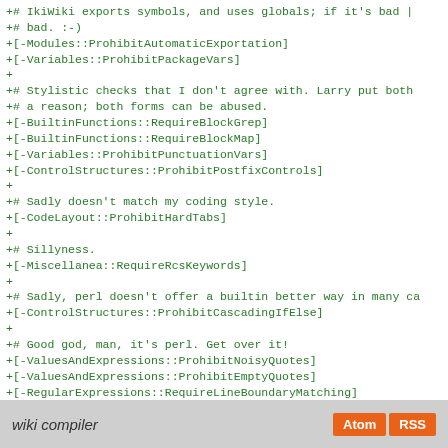+# IkiWiki exports symbols, and uses globals; if it's bad |
+# bad. :-)
+[-Modules::ProhibitAutomaticExportation]
+[-Variables::ProhibitPackageVars]
+
+# Stylistic checks that I don't agree with. Larry put both
+# a reason; both forms can be abused.
+[-BuiltinFunctions::RequireBlockGrep]
+[-BuiltinFunctions::RequireBlockMap]
+[-Variables::ProhibitPunctuationVars]
+[-ControlStructures::ProhibitPostfixControls]
+
+# Sadly doesn't match my coding style.
+[-CodeLayout::ProhibitHardTabs]
+
+# Sillyness.
+[-Miscellanea::RequireRcsKeywords]
+
+# Sadly, perl doesn't offer a builtin better way in many ca
+[-ControlStructures::ProhibitCascadingIfElse]
+
+# Good god, man, it's perl. Get over it!
+[-ValuesAndExpressions::ProhibitNoisyQuotes]
+[-ValuesAndExpressions::ProhibitEmptyQuotes]
+[-RegularExpressions::RequireLineBoundaryMatching]
+
+# When I use local vars, I have a damn good reason.
+# (A shower after with lots of strong soap is also a nice t
+[-Variables::ProhibitLocalVars]
wiki compiler